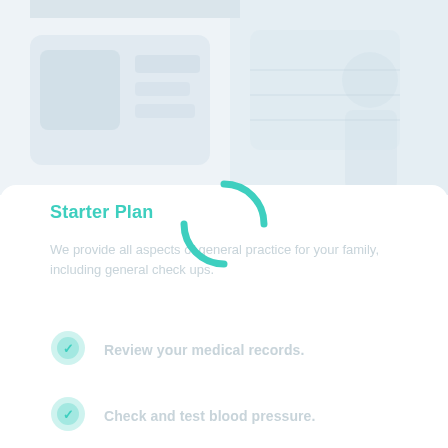[Figure (screenshot): Faded medical app UI screenshot showing appointment/dashboard interface in the background top half of the page]
Starter Plan
We provide all aspects of general practice for your family, including general check ups.
Review your medical records.
Check and test blood pressure.
Run tests such as blood tests.